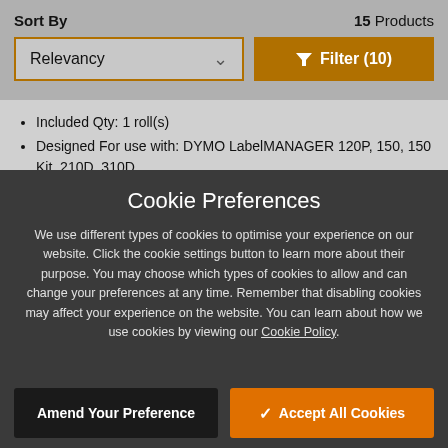Sort By
15 Products
Relevancy
Filter (10)
Included Qty: 1 roll(s)
Designed For use with: DYMO LabelMANAGER 120P, 150, 150 Kit, 210D, 310D
Cookie Preferences
We use different types of cookies to optimise your experience on our website. Click the cookie settings button to learn more about their purpose. You may choose which types of cookies to allow and can change your preferences at any time. Remember that disabling cookies may affect your experience on the website. You can learn about how we use cookies by viewing our Cookie Policy.
Amend Your Preference
Accept All Cookies